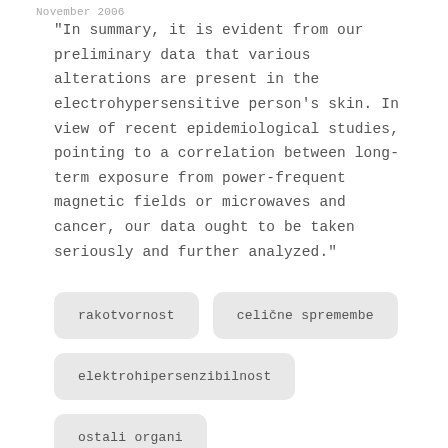November 2006
"In summary, it is evident from our preliminary data that various alterations are present in the electrohypersensitive person's skin. In view of recent epidemiological studies, pointing to a correlation between long-term exposure from power-frequent magnetic fields or microwaves and cancer, our data ought to be taken seriously and further analyzed."
rakotvornost
celične spremembe
elektrohipersenzibilnost
ostali organi